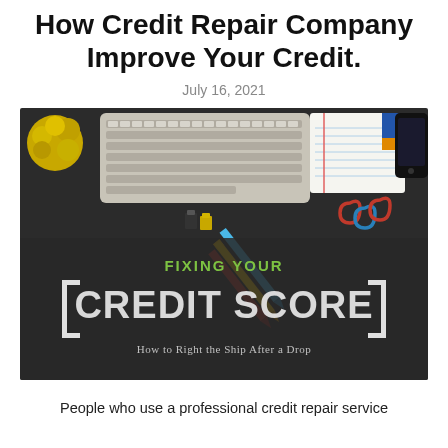How Credit Repair Company Improve Your Credit.
July 16, 2021
[Figure (photo): Flat lay photo of a keyboard, pencils, notebook, smartphone, paper clips, and binder clips on a dark background, with an overlay graphic reading 'FIXING YOUR [ CREDIT SCORE ] How to Right the Ship After a Drop']
People who use a professional credit repair service